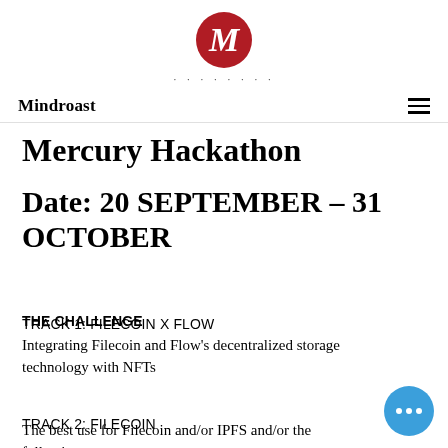[Figure (logo): Red circle with white italic M letter – Mindroast logo]
Mindroast ☰
Mercury Hackathon
Date: 20 SEPTEMBER – 31 OCTOBER
THE CHALLENGE
TRACK 1: FILECOIN X FLOW
Integrating Filecoin and Flow's decentralized storage technology with NFTs
TRACK 2: FILECOIN
The best use for Filecoin and/or IPFS and/or the following